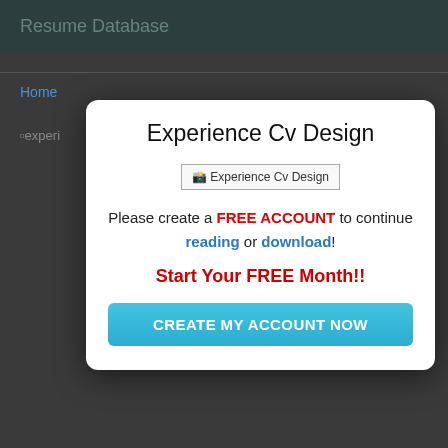Resume Database
Home
[Figure (screenshot): Broken image placeholder showing '[exper...' on the left side of the page behind the modal]
Experience Cv Design
[Figure (screenshot): Broken image placeholder labeled 'Experience Cv Design' inside the modal dialog]
Please create a FREE ACCOUNT to continue reading or download!
Start Your FREE Month!!
CREATE MY ACCOUNT NOW